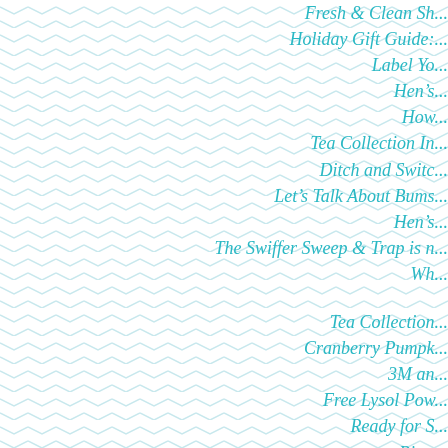Fresh & Clean Sh...
Holiday Gift Guide:...
Label Yo...
Hen's...
How...
Tea Collection In...
Ditch and Switc...
Let's Talk About Bums...
Hen's...
The Swiffer Sweep & Trap is n...
Wh...
Tea Collection...
Cranberry Pumpk...
3M an...
Free Lysol Pow...
Ready for S...
Pie s...
Holiday Gift Guide: De...
I took the BISSELL...